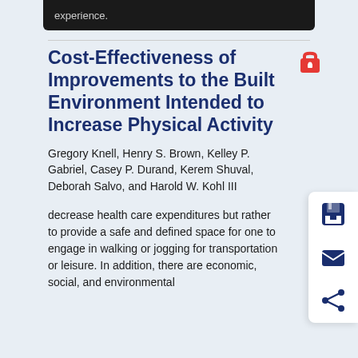experience.
Cost-Effectiveness of Improvements to the Built Environment Intended to Increase Physical Activity
Gregory Knell, Henry S. Brown, Kelley P. Gabriel, Casey P. Durand, Kerem Shuval, Deborah Salvo, and Harold W. Kohl III
decrease health care expenditures but rather to provide a safe and defined space for one to engage in walking or jogging for transportation or leisure. In addition, there are economic, social, and environmental